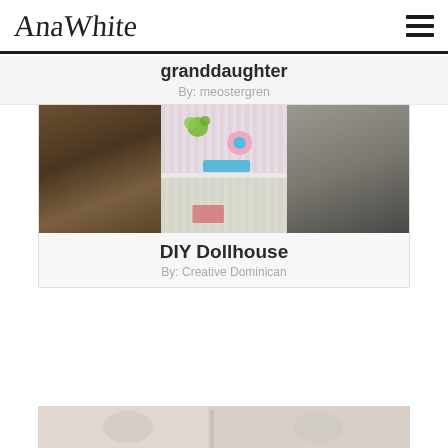AnaWhite
granddaughter
By: meostergren
[Figure (photo): Dollhouse interior showing shelves with miniature rooms containing furniture, decorated wallpaper with flowers and stripes, and pink accessories. Kitchen visible in background.]
DIY Dollhouse
By: Creative Dominican
[Figure (photo): Partial view of another project, light-colored image peeking from bottom of page.]